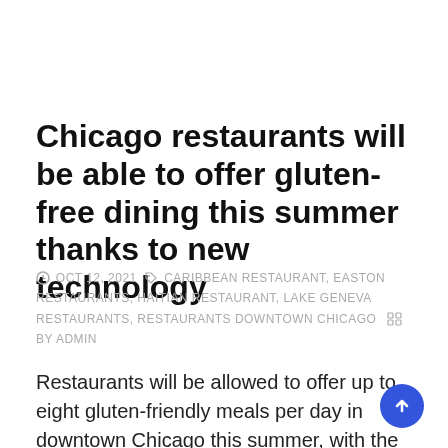Chicago restaurants will be able to offer gluten-free dining this summer thanks to new technology
OCT 12, 2021  CARIBBEAN RESTAURANT, EASTON RESTAURANTS, HAITIAN RESTAURANT, LAKE GENEVA RESTAURANTS, RESTAURANTS DOWNTOWN CHICAGO  BY ADMIN
Restaurants will be allowed to offer up to eight gluten-friendly meals per day in downtown Chicago this summer, with the exception of specialty items like desserts and desserts made from wheat flour.